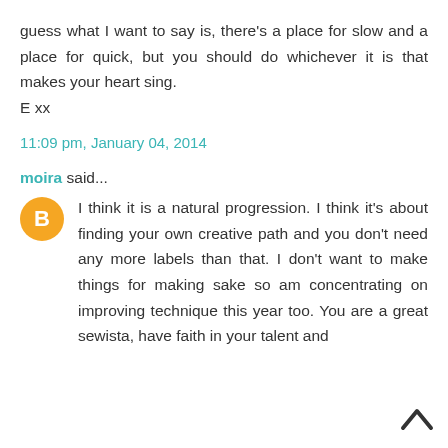guess what I want to say is, there's a place for slow and a place for quick, but you should do whichever it is that makes your heart sing.
E xx
11:09 pm, January 04, 2014
moira said...
I think it is a natural progression. I think it's about finding your own creative path and you don't need any more labels than that. I don't want to make things for making sake so am concentrating on improving technique this year too. You are a great sewista, have faith in your talent and